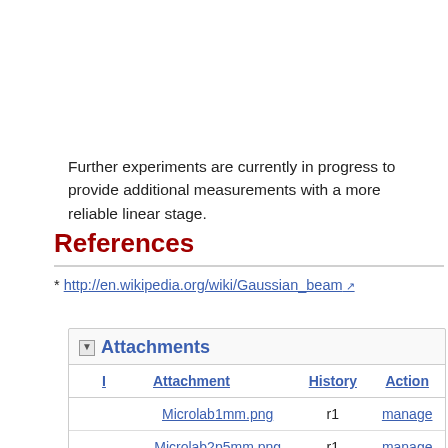Further experiments are currently in progress to provide additional measurements with a more reliable linear stage.
References
* http://en.wikipedia.org/wiki/Gaussian_beam
| I | Attachment | History | Action |
| --- | --- | --- | --- |
|  | Microlab1mm.png | r1 | manage |
|  | Microlab2p5mm.png | r1 | manage |